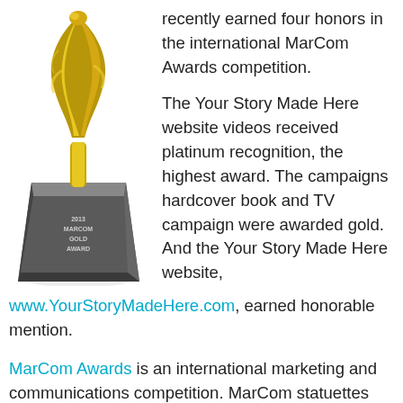[Figure (illustration): Gold MarCom Award statuette trophy with a twisted gold figure on top of a dark metallic trapezoidal base inscribed with '2013 MarCom Gold Award']
recently earned four honors in the international MarCom Awards competition.

The Your Story Made Here website videos received platinum recognition, the highest award. The campaigns hardcover book and TV campaign were awarded gold. And the Your Story Made Here website, www.YourStoryMadeHere.com, earned honorable mention.
MarCom Awards is an international marketing and communications competition. MarCom statuettes grace the trophy cases of some of the top business and communication firms in the world. According to their website, the MarCom competition has become one of the largest of its kind in the world with about 6,000 entries per year.